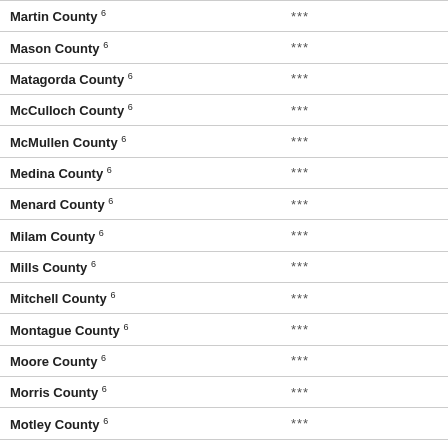|  |  |  |
| --- | --- | --- |
| Martin County 6 | *** | * |
| Mason County 6 | *** | * |
| Matagorda County 6 | *** | * |
| McCulloch County 6 | *** | * |
| McMullen County 6 | *** | * |
| Medina County 6 | *** | * |
| Menard County 6 | *** | * |
| Milam County 6 | *** | * |
| Mills County 6 | *** | * |
| Mitchell County 6 | *** | * |
| Montague County 6 | *** | * |
| Moore County 6 | *** | * |
| Morris County 6 | *** | * |
| Motley County 6 | *** | * |
| Nacogdoches County 6 | *** | * |
| Newton County 6 | *** | * |
| Nolan County 6 | *** | * |